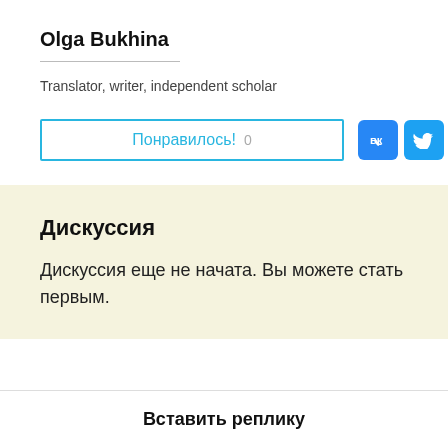Olga Bukhina
Translator, writer, independent scholar
[Figure (other): Like button with cyan border reading 'Понравилось! 0', and VK and Twitter social share icons]
Дискуссия
Дискуссия еще не начата. Вы можете стать первым.
Вставить реплику